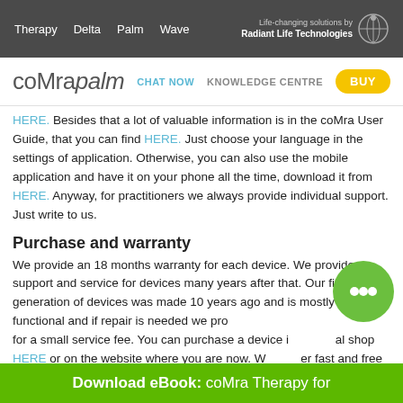Therapy | Delta | Palm | Wave | Life-changing solutions by Radiant Life Technologies
coMrapalm | CHAT NOW | KNOWLEDGE CENTRE | BUY
HERE. Besides that a lot of valuable information is in the coMra User Guide, that you can find HERE. Just choose your language in the settings of application. Otherwise, you can also use the mobile application and have it on your phone all the time, download it from HERE. Anyway, for practitioners we always provide individual support. Just write to us.
Purchase and warranty
We provide an 18 months warranty for each device. We provide support and service for devices many years after that. Our first generation of devices was made 10 years ago and is mostly still functional and if repair is needed we provide it for a small service fee. You can purchase a device in our local shop HERE or on the website where you are now. We deliver fast and free of charge.
Download eBook: coMra Therapy for